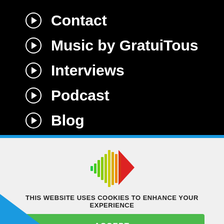Contact
Music by GratuiTous
Interviews
Podcast
Blog
[Figure (logo): Colorful audio waveform / play button logo with green, yellow, orange and red gradient bars forming a diamond/arrow shape]
THIS WEBSITE USES COOKIES TO ENHANCE YOUR EXPERIENCE
ACCEPT
LEARN MORE